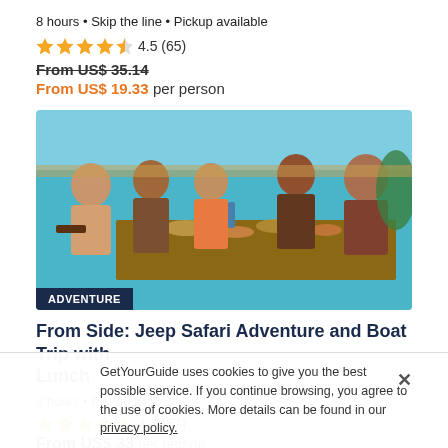8 hours • Skip the line • Pickup available
★★★★½ 4.5 (65)
From US$ 35.14
From US$ 19.33 per person
[Figure (photo): Group of people sitting at a long table with food, dining together in an outdoor or semi-outdoor setting with a colorful background. 'ADVENTURE' badge overlaid in bottom-left corner.]
From Side: Jeep Safari Adventure and Boat Trip with Lunch
8 hours • Pickup available
★★★★½ 4.7 (57)
From US$ 33 per person
GetYourGuide uses cookies to give you the best possible service. If you continue browsing, you agree to the use of cookies. More details can be found in our privacy policy.